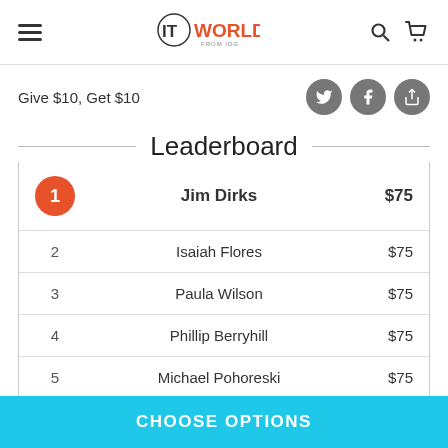IT WORLD FROM IDG
Give $10, Get $10
Leaderboard
| Rank | Name | Amount |
| --- | --- | --- |
| 1 | Jim Dirks | $75 |
| 2 | Isaiah Flores | $75 |
| 3 | Paula Wilson | $75 |
| 4 | Phillip Berryhill | $75 |
| 5 | Michael Pohoreski | $75 |
CHOOSE OPTIONS